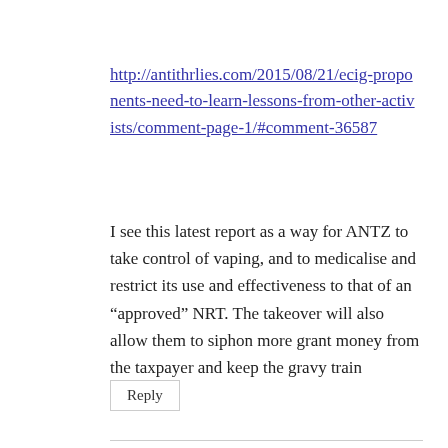http://antithrlies.com/2015/08/21/ecig-proponents-need-to-learn-lessons-from-other-activists/comment-page-1/#comment-36587
I see this latest report as a way for ANTZ to take control of vaping, and to medicalise and restrict its use and effectiveness to that of an “approved” NRT. The takeover will also allow them to siphon more grant money from the taxpayer and keep the gravy train running.
Reply
Clive Bates